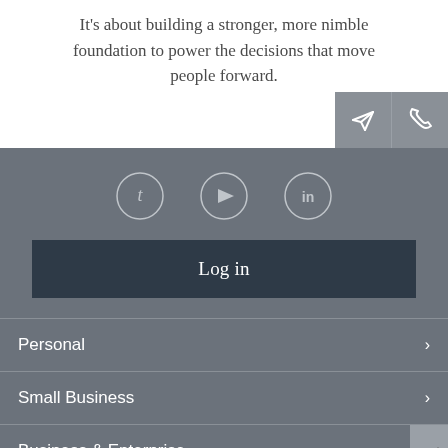It's about building a stronger, more nimble foundation to power the decisions that move people forward.
[Figure (screenshot): Navigation menu screenshot with social icons (Twitter, YouTube, LinkedIn), Log in button, and navigation links: Personal, Small Business, Business & Enterprise. Two icon buttons (email/send and phone) appear in top-right corner.]
Personal
Small Business
Business & Enterprise